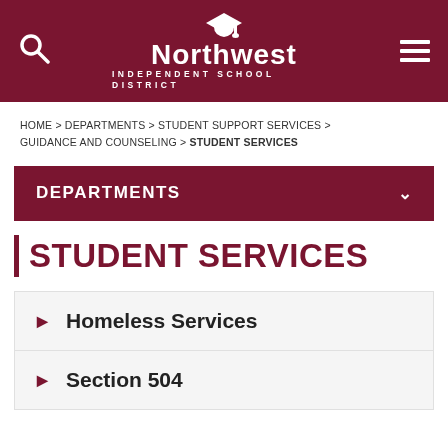Northwest Independent School District
HOME > DEPARTMENTS > STUDENT SUPPORT SERVICES > GUIDANCE AND COUNSELING > STUDENT SERVICES
DEPARTMENTS
STUDENT SERVICES
Homeless Services
Section 504